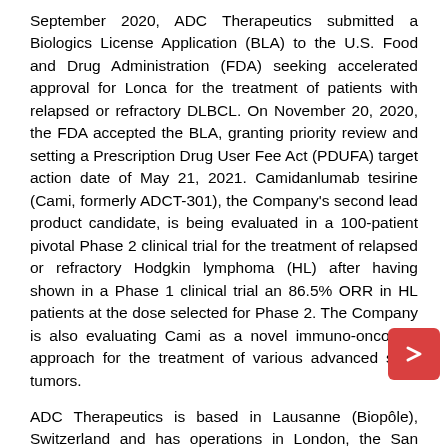September 2020, ADC Therapeutics submitted a Biologics License Application (BLA) to the U.S. Food and Drug Administration (FDA) seeking accelerated approval for Lonca for the treatment of patients with relapsed or refractory DLBCL. On November 20, 2020, the FDA accepted the BLA, granting priority review and setting a Prescription Drug User Fee Act (PDUFA) target action date of May 21, 2021. Camidanlumab tesirine (Cami, formerly ADCT-301), the Company's second lead product candidate, is being evaluated in a 100-patient pivotal Phase 2 clinical trial for the treatment of relapsed or refractory Hodgkin lymphoma (HL) after having shown in a Phase 1 clinical trial an 86.5% ORR in HL patients at the dose selected for Phase 2. The Company is also evaluating Cami as a novel immuno-oncology approach for the treatment of various advanced solid tumors.
ADC Therapeutics is based in Lausanne (Biopôle), Switzerland and has operations in London, the San Francisco Bay Area and New Jersey. For more information, please visit https://adctherapeutics.com/ and follow the Company on Twitter and LinkedIn.